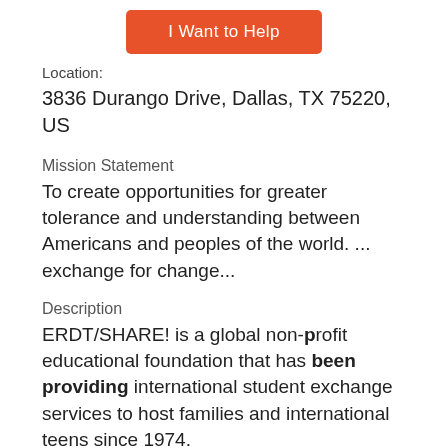[Figure (other): Orange button labeled 'I Want to Help']
Location:
3836 Durango Drive, Dallas, TX 75220, US
Mission Statement
To create opportunities for greater tolerance and understanding between Americans and peoples of the world. ... exchange for change...
Description
ERDT/SHARE! is a global non-profit educational foundation that has been providing international student exchange services to host families and international teens since 1974.